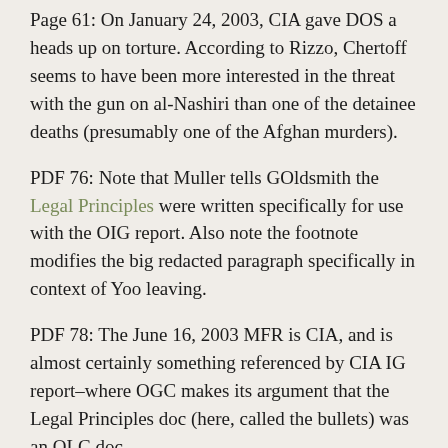Page 61: On January 24, 2003, CIA gave DOS a heads up on torture. According to Rizzo, Chertoff seems to have been more interested in the threat with the gun on al-Nashiri than one of the detainee deaths (presumably one of the Afghan murders).
PDF 76: Note that Muller tells GOldsmith the Legal Principles were written specifically for use with the OIG report. Also note the footnote modifies the big redacted paragraph specifically in context of Yoo leaving.
PDF 78: The June 16, 2003 MFR is CIA, and is almost certainly something referenced by CIA IG report–where OGC makes its argument that the Legal Principles doc (here, called the bullets) was an OLC doc.